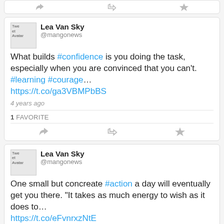[Figure (screenshot): Top partial tweet card showing action icons (reply, retweet, favorite) at bottom]
Lea Van Sky @mangonews — What builds #confidence is you doing the task, especially when you are convinced that you can't. #learning #courage… https://t.co/ga3VBMPbBS — 4 years ago — 1 FAVORITE
Lea Van Sky @mangonews — One small but concreate #action a day will eventually get you there. "It takes as much energy to wish as it does to… https://t.co/eFvnrxzNtE — 4 years ago